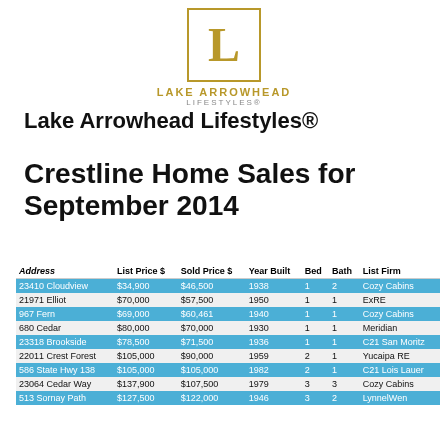[Figure (logo): Lake Arrowhead Lifestyles logo: gold L in a bordered box, with LAKE ARROWHEAD LIFESTYLES text below]
Lake Arrowhead Lifestyles®
Crestline Home Sales for September 2014
| Address | List Price $ | Sold Price $ | Year Built | Bed | Bath | List Firm |
| --- | --- | --- | --- | --- | --- | --- |
| 23410 Cloudview | $34,900 | $46,500 | 1938 | 1 | 2 | Cozy Cabins |
| 21971 Elliot | $70,000 | $57,500 | 1950 | 1 | 1 | ExRE |
| 967 Fern | $69,000 | $60,461 | 1940 | 1 | 1 | Cozy Cabins |
| 680 Cedar | $80,000 | $70,000 | 1930 | 1 | 1 | Meridian |
| 23318 Brookside | $78,500 | $71,500 | 1936 | 1 | 1 | C21 San Moritz |
| 22011 Crest Forest | $105,000 | $90,000 | 1959 | 2 | 1 | Yucaipa RE |
| 586 State Hwy 138 | $105,000 | $105,000 | 1982 | 2 | 1 | C21 Lois Lauer |
| 23064 Cedar Way | $137,900 | $107,500 | 1979 | 3 | 3 | Cozy Cabins |
| 513 Sornay Path | $127,500 | $122,000 | 1946 | 3 | 2 | LynnelWen |